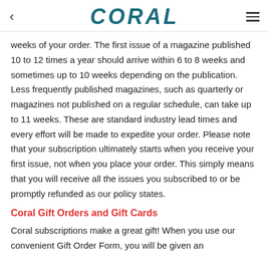CORAL
weeks of your order. The first issue of a magazine published 10 to 12 times a year should arrive within 6 to 8 weeks and sometimes up to 10 weeks depending on the publication. Less frequently published magazines, such as quarterly or magazines not published on a regular schedule, can take up to 11 weeks. These are standard industry lead times and every effort will be made to expedite your order. Please note that your subscription ultimately starts when you receive your first issue, not when you place your order. This simply means that you will receive all the issues you subscribed to or be promptly refunded as our policy states.
Coral Gift Orders and Gift Cards
Coral subscriptions make a great gift! When you use our convenient Gift Order Form, you will be given an